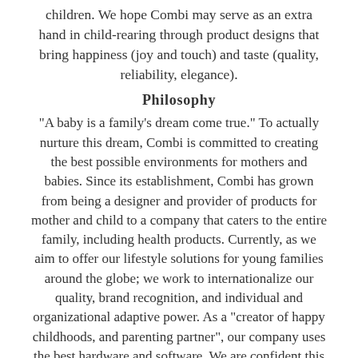children. We hope Combi may serve as an extra hand in child-rearing through product designs that bring happiness (joy and touch) and taste (quality, reliability, elegance).
Philosophy
"A baby is a family's dream come true." To actually nurture this dream, Combi is committed to creating the best possible environments for mothers and babies. Since its establishment, Combi has grown from being a designer and provider of products for mother and child to a company that caters to the entire family, including health products. Currently, as we aim to offer our lifestyle solutions for young families around the globe; we work to internationalize our quality, brand recognition, and individual and organizational adaptive power. As a "creator of happy childhoods, and parenting partner", our company uses the best hardware and software. We are confident this approach will strengthen the connections with our clients, and help us create more successes